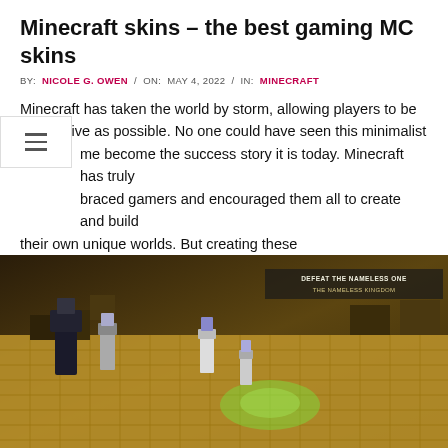Minecraft skins – the best gaming MC skins
BY: NICOLE G. OWEN / ON: MAY 4, 2022 / IN: MINECRAFT
Minecraft has taken the world by storm, allowing players to be as creative as possible. No one could have seen this minimalist game become the success story it is today. Minecraft has truly embraced gamers and encouraged them all to create and build their own unique worlds. But creating these
[Figure (screenshot): Screenshot of Minecraft Dungeons gameplay showing blocky characters fighting in a dungeon environment with text overlay 'DEFEAT THE NAMELESS ONE - THE NAMELESS KINGDOM']